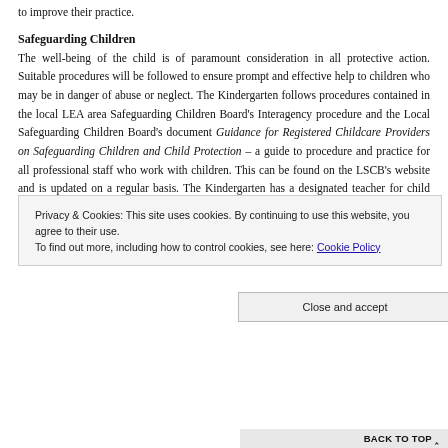to improve their practice.
Safeguarding Children
The well-being of the child is of paramount consideration in all protective action. Suitable procedures will be followed to ensure prompt and effective help to children who may be in danger of abuse or neglect. The Kindergarten follows procedures contained in the local LEA area Safeguarding Children Board's Interagency procedure and the Local Safeguarding Children Board's document Guidance for Registered Childcare Providers on Safeguarding Children and Child Protection – a guide to procedure and practice for all professional staff who work with children. This can be found on the LSCB's website and is updated on a regular basis. The Kindergarten has a designated teacher for child protection and works with the Calderdale Local Safeguarding Children Board Child Protection Liaison Officer (Tel 01422 393514).
Privacy & Cookies: This site uses cookies. By continuing to use this website, you agree to their use. To find out more, including how to control cookies, see here: Cookie Policy
Close and accept
BACK TO TOP ^